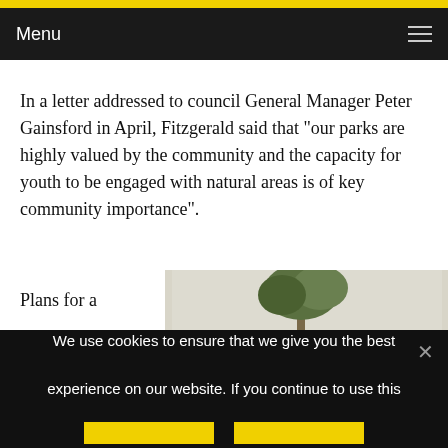Menu
In a letter addressed to council General Manager Peter Gainsford in April, Fitzgerald said that “our parks are highly valued by the community and the capacity for youth to be engaged with natural areas is of key community importance”.
Plans for a
[Figure (photo): Partial view of a tree against a light sky background]
We use cookies to ensure that we give you the best experience on our website. If you continue to use this site we will assume that you are happy with it.